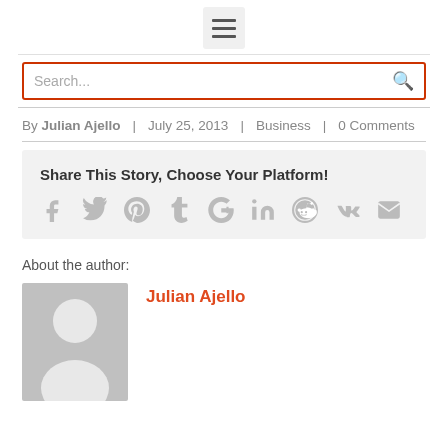≡ (menu icon)
Search...
By Julian Ajello  |  July 25, 2013  |  Business  |  0 Comments
Share This Story, Choose Your Platform!
[Figure (infographic): Row of social media icons: Facebook, Twitter, Pinterest, Tumblr, Google+, LinkedIn, Reddit, VK, Email (envelope)]
About the author:
[Figure (photo): Gray placeholder avatar image of a person silhouette]
Julian Ajello